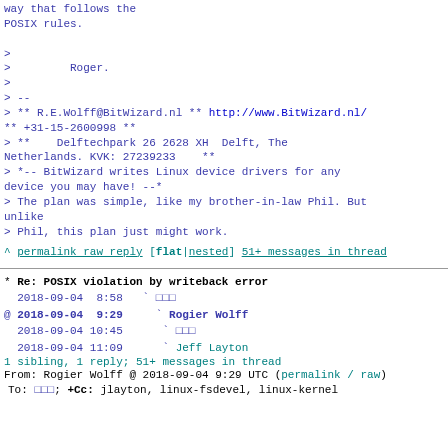way that follows the POSIX rules.

>
>         Roger.
>
> --
> ** R.E.Wolff@BitWizard.nl ** http://www.BitWizard.nl/ ** +31-15-2600998 **
> **     Delftechpark 26 2628 XH  Delft, The Netherlands. KVK: 27239233     **
> *-- BitWizard writes Linux device drivers for any device you may have! --*
> The plan was simple, like my brother-in-law Phil. But unlike
> Phil, this plan just might work.
^ permalink raw reply   [flat|nested] 51+ messages in thread
* Re: POSIX violation by writeback error
  2018-09-04  8:58   ` □□□
@ 2018-09-04  9:29     ` Rogier Wolff
  2018-09-04 10:45      ` □□□
  2018-09-04 11:09      ` Jeff Layton
  1 sibling, 1 reply; 51+ messages in thread
From: Rogier Wolff @ 2018-09-04  9:29 UTC (permalink / raw)
   To: □□□; +Cc: jlayton, linux-fsdevel, linux-kernel